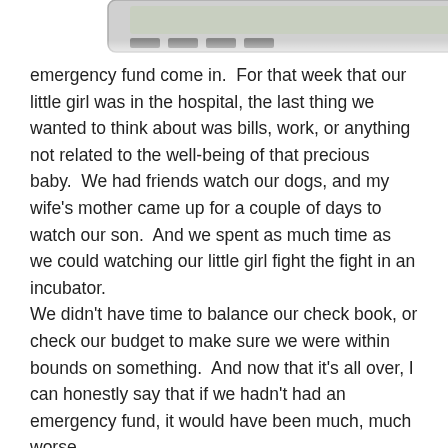[Figure (photo): Partial view of a calculator or electronic device, cropped at the top of the page, showing the edge of the device against a white background.]
emergency fund come in.  For that week that our little girl was in the hospital, the last thing we wanted to think about was bills, work, or anything not related to the well-being of that precious baby.  We had friends watch our dogs, and my wife's mother came up for a couple of days to watch our son.  And we spent as much time as we could watching our little girl fight the fight in an incubator.
We didn't have time to balance our check book, or check our budget to make sure we were within bounds on something.  And now that it's all over, I can honestly say that if we hadn't had an emergency fund, it would have been much, much worse.